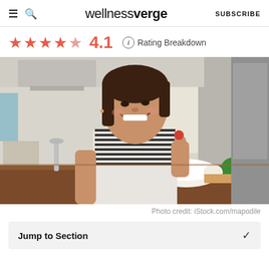wellnessverge — SUBSCRIBE
★★★★☆ 4.1  ⓘ Rating Breakdown
[Figure (photo): A smiling woman in a striped shirt leaning on a kitchen counter holding a small tomato, with vegetables and a bowl in front of her and a bright kitchen in the background.]
Photo credit: iStock.com/mapodile
Jump to Section